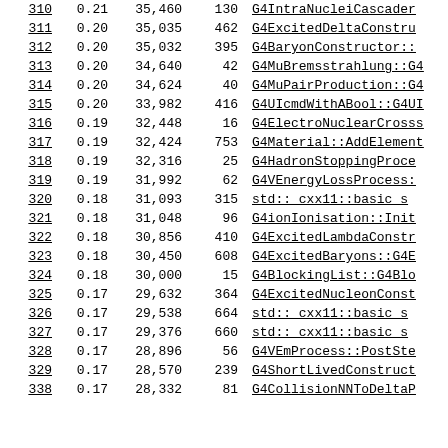| Rank | Percent | Self | Total callers | Function |
| --- | --- | --- | --- | --- |
| 310 | 0.21 | 35,460 | 130 | G4IntraNucleiCascader... |
| 311 | 0.20 | 35,035 | 462 | G4ExcitedDeltaConstru... |
| 312 | 0.20 | 35,032 | 395 | G4BaryonConstructor::... |
| 313 | 0.20 | 34,640 | 42 | G4MuBremsstrahlung::G4... |
| 314 | 0.20 | 34,624 | 40 | G4MuPairProduction::G4... |
| 315 | 0.20 | 33,982 | 416 | G4UIcmdWithABool::G4UI... |
| 316 | 0.19 | 32,448 | 16 | G4ElectroNuclearCrosss... |
| 317 | 0.19 | 32,424 | 753 | G4Material::AddElement... |
| 318 | 0.19 | 32,316 | 25 | G4HadronStoppingProce... |
| 319 | 0.19 | 31,992 | 62 | G4VEnergyLossProcess::... |
| 320 | 0.18 | 31,093 | 315 | std:: cxx11::basic_s... |
| 321 | 0.18 | 31,048 | 96 | G4ionIonisation::Init... |
| 322 | 0.18 | 30,856 | 410 | G4ExcitedLambdaConstr... |
| 323 | 0.18 | 30,450 | 608 | G4ExcitedBaryons::G4E... |
| 324 | 0.18 | 30,000 | 15 | G4BlockingList::G4Blo... |
| 325 | 0.17 | 29,632 | 364 | G4ExcitedNucleonConst... |
| 326 | 0.17 | 29,538 | 664 | std:: cxx11::basic_s... |
| 327 | 0.17 | 29,376 | 660 | std:: cxx11::basic_s... |
| 328 | 0.17 | 28,896 | 56 | G4VEmProcess::PostSte... |
| 329 | 0.17 | 28,570 | 239 | G4ShortLivedConstruct... |
| 338 | 0.17 | 28,332 | 81 | G4CollisionNNToDeltaP... |